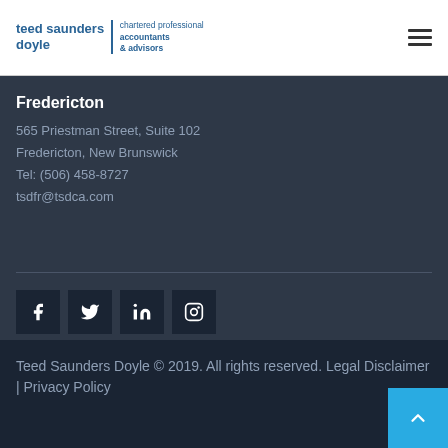[Figure (logo): Teed Saunders Doyle chartered professional accountants & advisors logo in blue]
Fredericton
565 Priestman Street, Suite 102
Fredericton, New Brunswick
Tel: (506) 458-8727
tsdfr@tsdca.com
[Figure (infographic): Social media icons: Facebook, Twitter, LinkedIn, Instagram]
Teed Saunders Doyle © 2019. All rights reserved. Legal Disclaimer | Privacy Policy